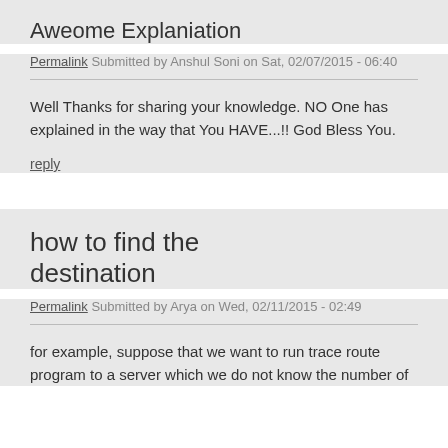Aweome Explaniation
Permalink Submitted by Anshul Soni on Sat, 02/07/2015 - 06:40
Well Thanks for sharing your knowledge. NO One has explained in the way that You HAVE...!! God Bless You.
reply
how to find the destination
Permalink Submitted by Arya on Wed, 02/11/2015 - 02:49
for example, suppose that we want to run trace route program to a server which we do not know the number of